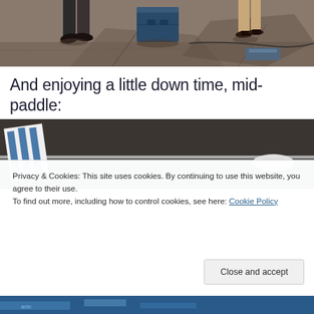[Figure (photo): Top portion of a street scene photo showing people's legs and feet on a sidewalk, with a dark blue cooler/container in the middle, shot from above.]
And enjoying a little down time, mid-paddle:
[Figure (photo): Photo of a pool or paddle area, showing dark surface with a white/blue striped item visible, partially obscured by cookie consent banner.]
Privacy & Cookies: This site uses cookies. By continuing to use this website, you agree to their use.
To find out more, including how to control cookies, see here: Cookie Policy
[Figure (photo): Bottom partial photo showing blue colored scene, partially cut off at bottom of page.]